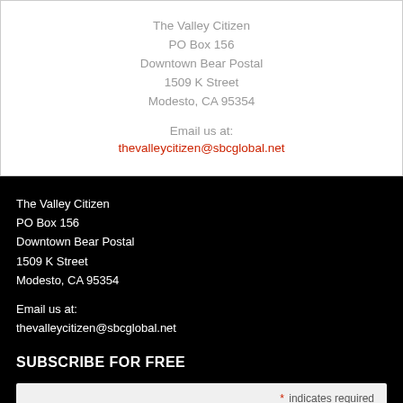The Valley Citizen
PO Box 156
Downtown Bear Postal
1509 K Street
Modesto, CA 95354
Email us at:
thevalleycitizen@sbcglobal.net
The Valley Citizen
PO Box 156
Downtown Bear Postal
1509 K Street
Modesto, CA 95354
Email us at:
thevalleycitizen@sbcglobal.net
SUBSCRIBE FOR FREE
* indicates required
Email Address *